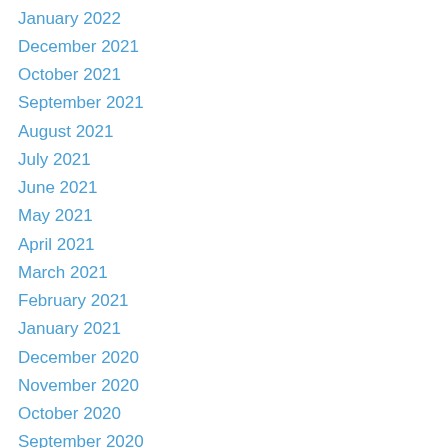January 2022
December 2021
October 2021
September 2021
August 2021
July 2021
June 2021
May 2021
April 2021
March 2021
February 2021
January 2021
December 2020
November 2020
October 2020
September 2020
August 2020
July 2020
June 2020
April 2020